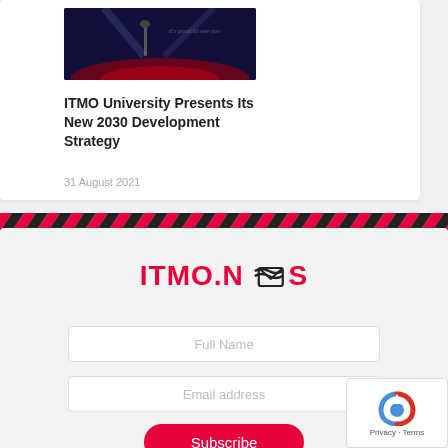[Figure (photo): Dark stage photo with a person presenting, red lighting on floor]
ITMO University Presents Its New 2030 Development Strategy
31 August 2021
[Figure (logo): ITMO.NEWS logo in red with envelope/wave icon]
Full Name
Email address
Subscribe